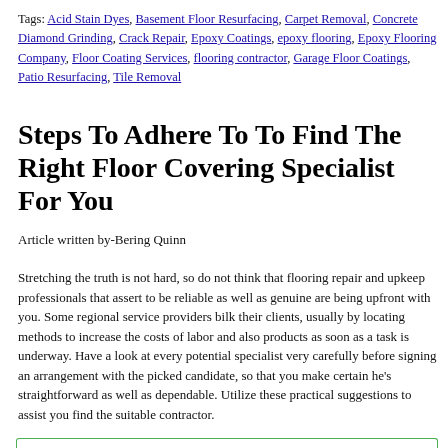Tags: Acid Stain Dyes, Basement Floor Resurfacing, Carpet Removal, Concrete Diamond Grinding, Crack Repair, Epoxy Coatings, epoxy flooring, Epoxy Flooring Company, Floor Coating Services, flooring contractor, Garage Floor Coatings, Patio Resurfacing, Tile Removal
Steps To Adhere To To Find The Right Floor Covering Specialist For You
Article written by-Bering Quinn
Stretching the truth is not hard, so do not think that flooring repair and upkeep professionals that assert to be reliable as well as genuine are being upfront with you. Some regional service providers bilk their clients, usually by locating methods to increase the costs of labor and also products as soon as a task is underway. Have a look at every potential specialist very carefully before signing an arrangement with the picked candidate, so that you make certain he's straightforward as well as dependable. Utilize these practical suggestions to assist you find the suitable contractor.